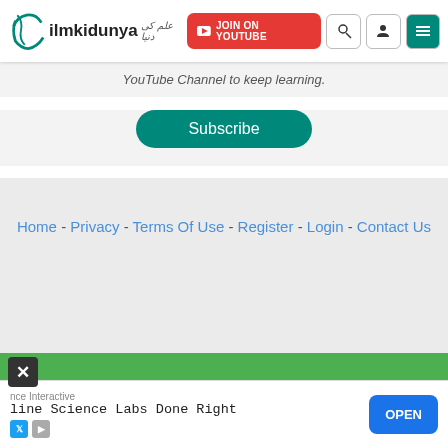ilmkidunya - JOIN ON YOUTUBE
YouTube Channel to keep learning.
Subscribe
Home - Privacy - Terms Of Use - Register - Login - Contact Us
© ilmkidunya.com No content of this website can be copied or reproduced in any form without permission
Website Hosting: WinsHosting
Devloped by: Soft Solutions
nce Interactive
line Science Labs Done Right